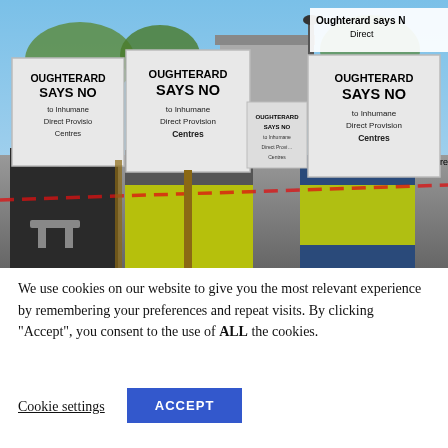[Figure (photo): Protesters holding signs reading 'OUGHTERARD SAYS NO to Inhumane Direct Provision Centres' in an outdoor setting. Multiple people in high-visibility vests holding placards. A banner in the top right reads 'Oughterard says No'. Red and white barrier tape visible in background.]
We use cookies on our website to give you the most relevant experience by remembering your preferences and repeat visits. By clicking “Accept”, you consent to the use of ALL the cookies.
Cookie settings
ACCEPT